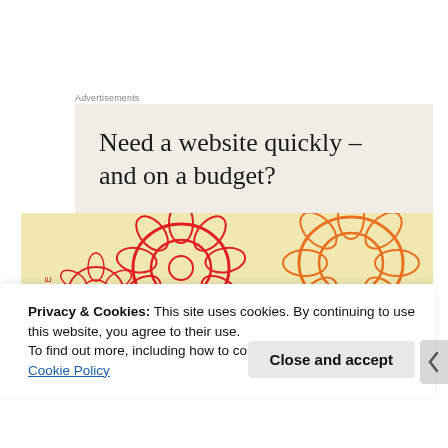Advertisements
[Figure (other): Advertisement banner with beige/tan background reading 'Need a website quickly – and on a budget?']
[Figure (photo): Close-up photograph of a colorful floral fabric or packaging with red, orange, and yellow flower patterns and blue cursive text reading 'Now Faith.']
Privacy & Cookies: This site uses cookies. By continuing to use this website, you agree to their use.
To find out more, including how to control cookies, see here: Cookie Policy
Close and accept